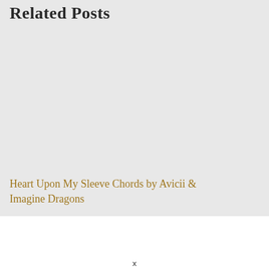Related Posts
Heart Upon My Sleeve Chords by Avicii & Imagine Dragons
x